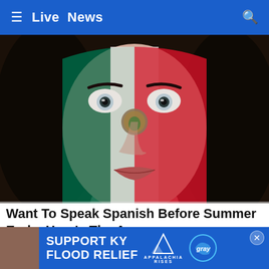≡ Live News 🔍
[Figure (photo): Close-up portrait of a young woman with Mexican flag face paint — green on the left side, white in the center with Mexican coat of arms on the nose, red on the right side. She has striking light-colored eyes and dark hair.]
Want To Speak Spanish Before Summer Ends..Here's The Answer
Babbel | Sponsored
[Figure (infographic): Advertisement banner: SUPPORT KY FLOOD RELIEF with Appalachia Rises mountain logo and Gray television network logo]